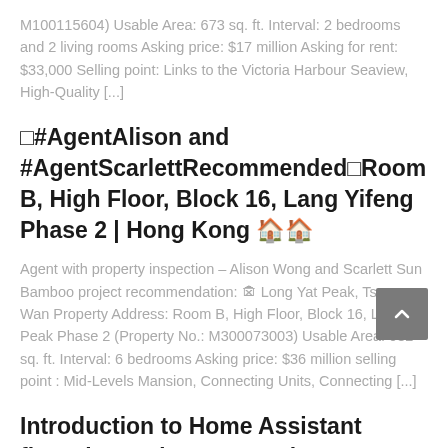M100115604) Usable Area: 673 sq. ft. Interval: 2 bedrooms and 2 living rooms Asking price: $17 million Asking for rent: $33,000 Selling point: Links to the Victoria Harbour Seaview, High-Quality [...]
□#AgentAlison and #AgentScarlettRecommended□Room B, High Floor, Block 16, Lang Yifeng Phase 2 | Hong Kong 🏠🏠
Agent with property inspection – Alison Wong and Scarlett Sun Bamboo project recommendation: 🏚 Long Yat Peak, Tsuen Wan Property Address: Room B, High Floor, Block 16, Long Yat Peak Phase 2 (Property No.: M300073003) Usable Area: 982 sq. ft. Interval: 6 bedrooms Asking price: $36 million selling point : Mid-Levels Mansion, Connecting Units, Connecting [...]
Introduction to Home Assistant floorplan and Honeycomb menu module